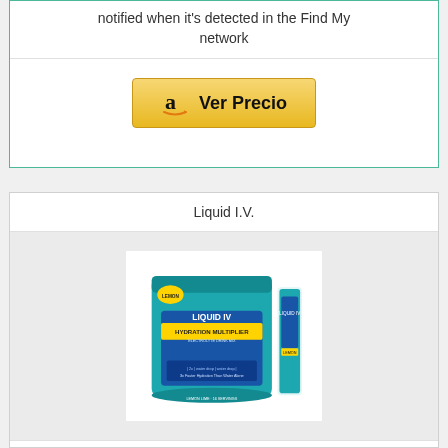notified when it's detected in the Find My network
[Figure (other): Amazon 'Ver Precio' button with Amazon logo]
Liquid I.V.
[Figure (photo): Liquid I.V. Hydration Multiplier product bag and stick packet in teal/blue colors]
Liquid I.V. Hydration Multiplier - Lemon Lime - Hydration Powder Packets | Electrolyte Drink Mix | Easy Open